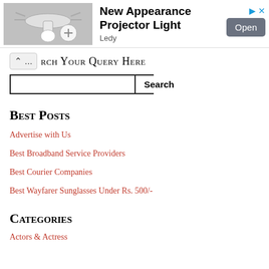[Figure (photo): Advertisement banner with a projector light image, showing New Appearance Projector Light by Ledy with an Open button]
rch Your Query Here
Search (input field and button)
Best Posts
Advertise with Us
Best Broadband Service Providers
Best Courier Companies
Best Wayfarer Sunglasses Under Rs. 500/-
Categories
Actors & Actress